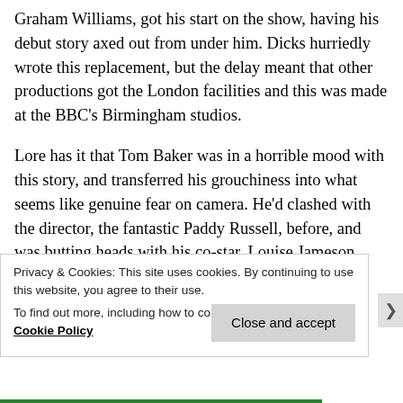Graham Williams, got his start on the show, having his debut story axed out from under him. Dicks hurriedly wrote this replacement, but the delay meant that other productions got the London facilities and this was made at the BBC's Birmingham studios.
Lore has it that Tom Baker was in a horrible mood with this story, and transferred his grouchiness into what seems like genuine fear on camera. He'd clashed with the director, the fantastic Paddy Russell, before, and was butting heads with his co-star. Louise Jameson. because he was under the
Privacy & Cookies: This site uses cookies. By continuing to use this website, you agree to their use.
To find out more, including how to control cookies, see here: Cookie Policy
Close and accept